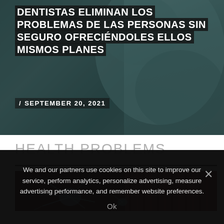[Figure (photo): Photograph of a dentist or medical professional in scrubs, used as background for article headline]
DENTISTAS ELIMINAN LOS PROBLEMAS DE LAS PERSONAS SIN SEGURO OFRECIÉNDOLES ELLOS MISMOS PLANES
/ SEPTEMBER 20, 2021
HEALTH PROBLEMS
[Figure (photo): Scientific/medical illustration showing a neuron (nerve cell) with branching dendrites against a reddish background with muscle fiber textures]
We and our partners use cookies on this site to improve our service, perform analytics, personalize advertising, measure advertising performance, and remember website preferences.
Ok